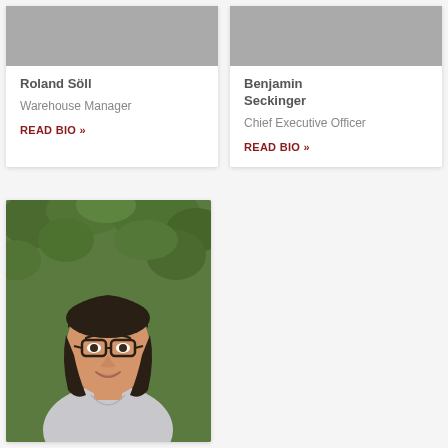[Figure (photo): Gray placeholder photo for Roland Söll]
Roland Söll
Warehouse Manager
READ BIO »
[Figure (photo): Gray placeholder photo for Benjamin Seckinger]
Benjamin Seckinger
Chief Executive Officer
READ BIO »
[Figure (photo): Portrait photo of an Asian woman with glasses, dark shoulder-length hair, wearing a light gray top, smiling, with green foliage background]